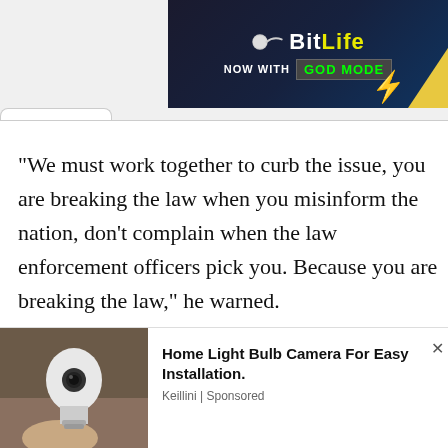[Figure (screenshot): BitLife game advertisement banner with 'NOW WITH GOD MODE' text on dark background]
“We must work together to curb the issue, you are breaking the law when you misinform the nation, don’t complain when the law enforcement officers pick you. Because you are breaking the law,” he warned.
[Figure (photo): Home light bulb camera product advertisement showing a white smart camera shaped like a light bulb held by a hand]
Home Light Bulb Camera For Easy Installation.
Keillini | Sponsored